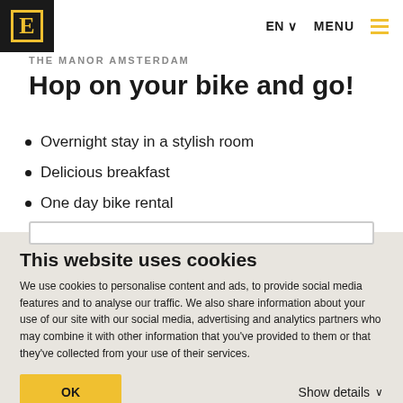THE MANOR AMSTERDAM
Hop on your bike and go!
Overnight stay in a stylish room
Delicious breakfast
One day bike rental
This website uses cookies
We use cookies to personalise content and ads, to provide social media features and to analyse our traffic. We also share information about your use of our site with our social media, advertising and analytics partners who may combine it with other information that you've provided to them or that they've collected from your use of their services.
OK
Show details